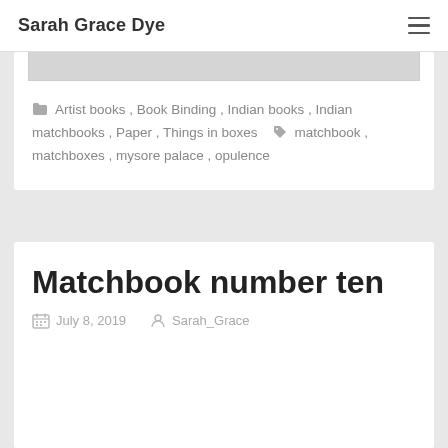Sarah Grace Dye
[Figure (photo): Partial image at top of card, light gray background]
Artist books, Book Binding, Indian books, Indian matchbooks, Paper, Things in boxes   matchbook, matchboxes, mysore palace, opulence
Matchbook number ten
July 8, 2019   Sarah_Grace